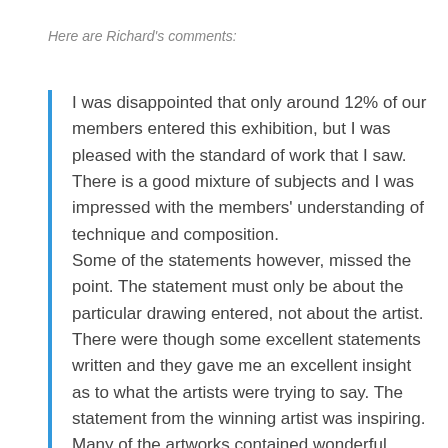Here are Richard's comments:
I was disappointed that only around 12% of our members entered this exhibition, but I was pleased with the standard of work that I saw. There is a good mixture of subjects and I was impressed with the members' understanding of technique and composition. Some of the statements however, missed the point. The statement must only be about the particular drawing entered, not about the artist. There were though some excellent statements written and they gave me an excellent insight as to what the artists were trying to say. The statement from the winning artist was inspiring. Many of the artworks contained wonderful examples of mark-making and sensitivity. I could see that there was a strong commitment to